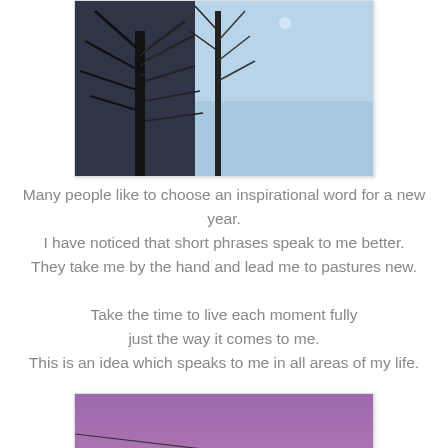[Figure (photo): A photo of bare winter tree branches with a blue sky background and a faint moon visible]
Many people like to choose an inspirational word for a new year.
I have noticed that short phrases speak to me better.
They take me by the hand and lead me to pastures new.

Take the time to live each moment fully
just the way it comes to me.
This is an idea which speaks to me in all areas of my life.
[Figure (photo): A photo of a purple-pink dusk sky with power lines, a street lamp silhouette, and bare tree branches at the bottom]